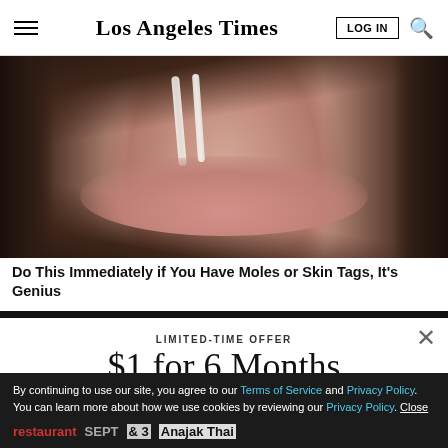Los Angeles Times
[Figure (photo): Close-up photo of a woman's face using a nose strip or skin tool, dark hair visible on sides]
Do This Immediately if You Have Moles or Skin Tags, It's Genius
LIMITED-TIME OFFER
$1 for 6 Months
SUBSCRIBE NOW
By continuing to use our site, you agree to our Terms of Service and Privacy Policy. You can learn more about how we use cookies by reviewing our Privacy Policy. Close